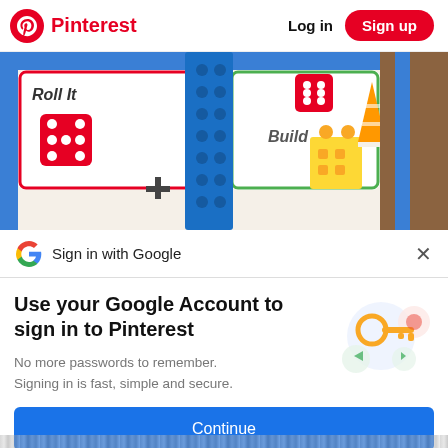Pinterest  Log in  Sign up
[Figure (photo): Close-up photo of a board game showing dice, blue LEGO blocks, and yellow LEGO pieces on a colorful game board with text 'Roll It' and 'Build']
Sign in with Google
Use your Google Account to sign in to Pinterest
No more passwords to remember. Signing in is fast, simple and secure.
Continue